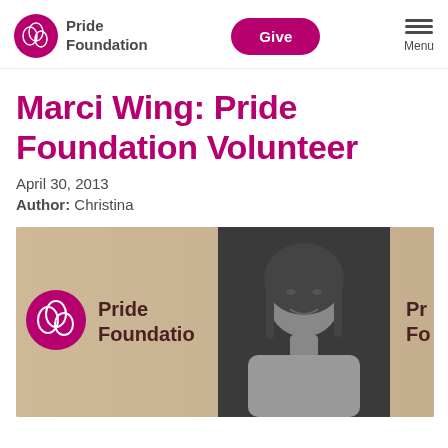Pride Foundation | Give | Menu
Marci Wing: Pride Foundation Volunteer
April 30, 2013
Author: Christina
[Figure (photo): Black and white portrait of Marci Wing in front of a Pride Foundation banner/backdrop showing the Pride Foundation logo repeated. The woman has shoulder-length dark hair and is smiling slightly, looking upward to one side.]